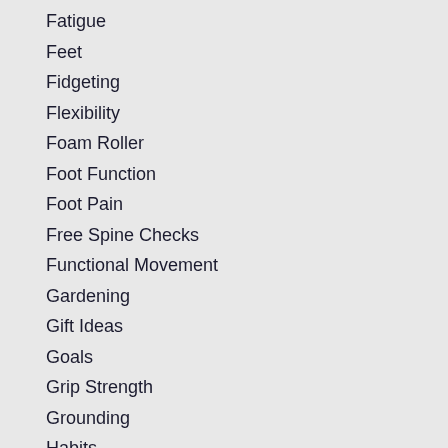Fatigue
Feet
Fidgeting
Flexibility
Foam Roller
Foot Function
Foot Pain
Free Spine Checks
Functional Movement
Gardening
Gift Ideas
Goals
Grip Strength
Grounding
Habits
Hanging
Headaches
Headbanging
Health